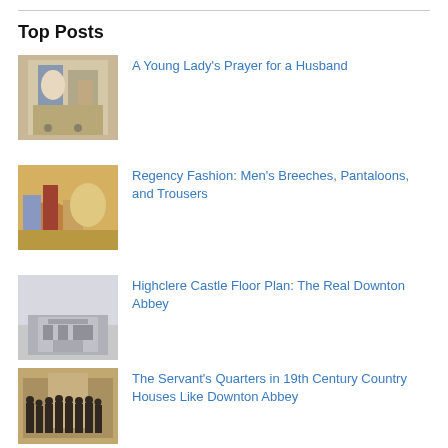Top Posts
A Young Lady's Prayer for a Husband
Regency Fashion: Men's Breeches, Pantaloons, and Trousers
Highclere Castle Floor Plan: The Real Downton Abbey
The Servant's Quarters in 19th Century Country Houses Like Downton Abbey